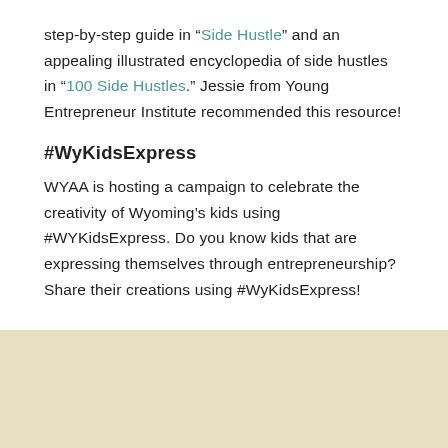step-by-step guide in “Side Hustle” and an appealing illustrated encyclopedia of side hustles in “100 Side Hustles.” Jessie from Young Entrepreneur Institute recommended this resource!
#WyKidsExpress
WYAA is hosting a campaign to celebrate the creativity of Wyoming’s kids using #WYKidsExpress. Do you know kids that are expressing themselves through entrepreneurship? Share their creations using #WyKidsExpress!